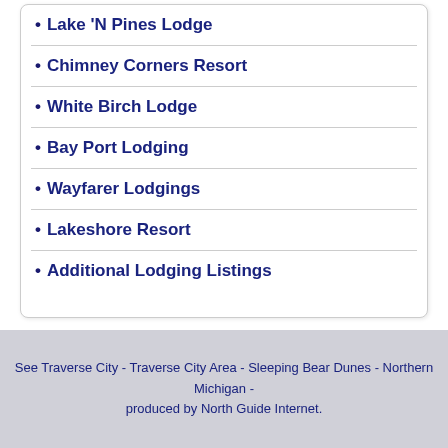Lake 'N Pines Lodge
Chimney Corners Resort
White Birch Lodge
Bay Port Lodging
Wayfarer Lodgings
Lakeshore Resort
Additional Lodging Listings
See Traverse City - Traverse City Area - Sleeping Bear Dunes - Northern Michigan - produced by North Guide Internet.